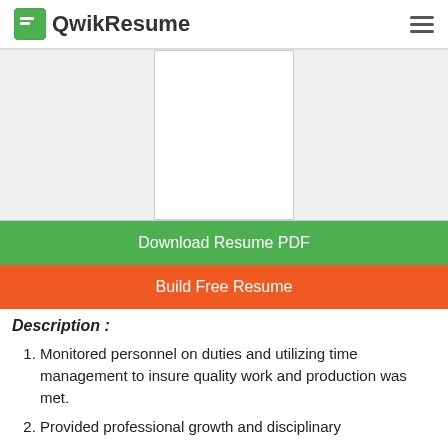QwikResume
[Figure (other): Resume preview thumbnail box]
Download Resume PDF
Build Free Resume
Description :
Monitored personnel on duties and utilizing time management to insure quality work and production was met.
Provided professional growth and disciplinary